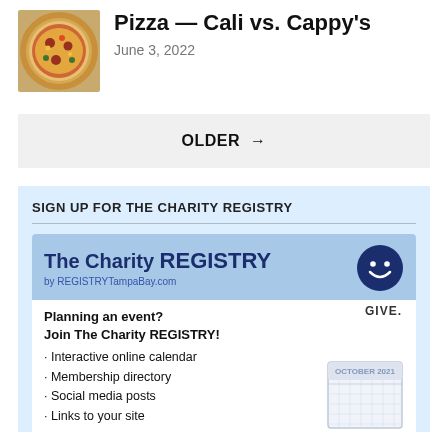[Figure (photo): Photo of a pizza with toppings]
Pizza — Cali vs. Cappy's
June 3, 2022
OLDER →
SIGN UP FOR THE CHARITY REGISTRY
[Figure (infographic): The Charity REGISTRY advertisement banner by REGISTRYTampaBay.com with a smiley face icon, GIVE label, planning an event text, and a calendar image showing October 2021. Lists: Interactive online calendar, Membership directory, Social media posts, Links to your site]